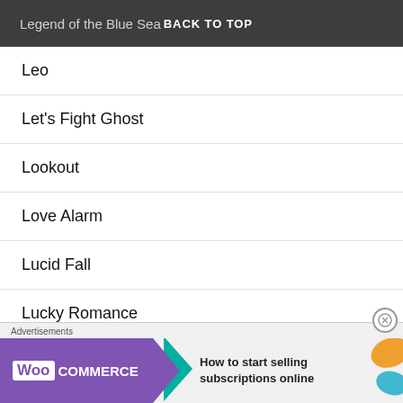Legend of the Blue Sea  BACK TO TOP
Leo
Let's Fight Ghost
Lookout
Love Alarm
Lucid Fall
Lucky Romance
MAMAMOO
[Figure (screenshot): WooCommerce advertisement banner: 'How to start selling subscriptions online']